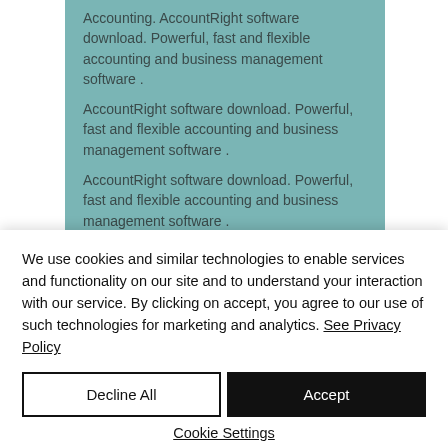Accounting. AccountRight software download. Powerful, fast and flexible accounting and business management software . AccountRight software download. Powerful, fast and flexible accounting and business management software . AccountRight software download. Powerful, fast and flexible accounting and business management software . accounting software free download
We use cookies and similar technologies to enable services and functionality on our site and to understand your interaction with our service. By clicking on accept, you agree to our use of such technologies for marketing and analytics. See Privacy Policy
Decline All
Accept
Cookie Settings